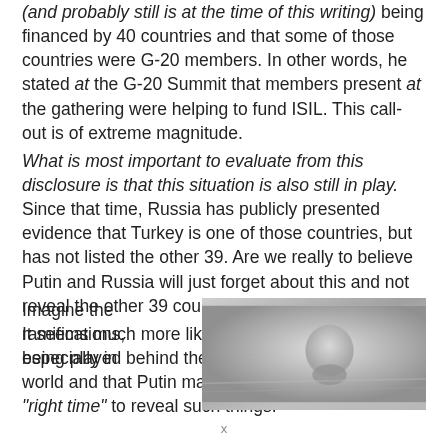(and probably still is at the time of this writing) being financed by 40 countries and that some of those countries were G-20 members. In other words, he stated at the G-20 Summit that members present at the gathering were helping to fund ISIL. This call-out is of extreme magnitude.
What is most important to evaluate from this disclosure is that this situation is also still in play. Since that time, Russia has publicly presented evidence that Turkey is one of those countries, but has not listed the other 39. Are we really to believe Putin and Russia will just forget about this and not reveal the other 39 countries?
It seems much more likely that a chess game is being played behind the geopolitical scenes of the world and that Putin may be simply waiting for the "right time" to reveal such things.
Imagine the ramifications, especially in
[Figure (photo): Black and white photo showing a chess piece (appears to be a knight or king) in soft focus, with a blurred background suggesting a chess board scene.]